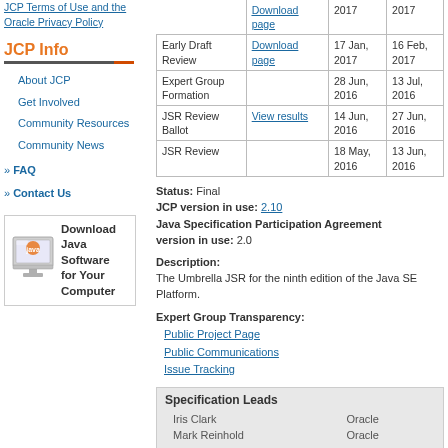JCP Terms of Use and the Oracle Privacy Policy
JCP Info
About JCP
Get Involved
Community Resources
Community News
FAQ
Contact Us
[Figure (illustration): Download Java Software for Your Computer promotional image with Java logo on a monitor]
|  |  | 2017/2016 | 2017/2016 |
| --- | --- | --- | --- |
| Early Draft Review | Download page | 17 Jan, 2017 | 16 Feb, 2017 |
| Expert Group Formation |  | 28 Jun, 2016 | 13 Jul, 2016 |
| JSR Review Ballot | View results | 14 Jun, 2016 | 27 Jun, 2016 |
| JSR Review |  | 18 May, 2016 | 13 Jun, 2016 |
Status: Final
JCP version in use: 2.10
Java Specification Participation Agreement version in use: 2.0
Description:
The Umbrella JSR for the ninth edition of the Java SE Platform.
Expert Group Transparency:
Public Project Page
Public Communications
Issue Tracking
| Specification Leads |  |
| --- | --- |
| Iris Clark | Oracle |
| Mark Reinhold | Oracle |